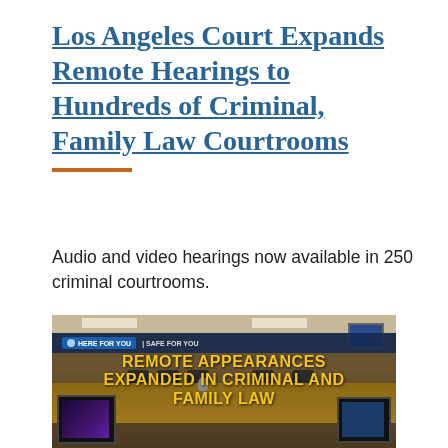Los Angeles Court Expands Remote Hearings to Hundreds of Criminal, Family Law Courtrooms
Audio and video hearings now available in 250 criminal courtrooms.
[Figure (photo): Promotional image showing a courtroom with text overlay reading 'HERE FOR YOU | SAFE FOR YOU' and 'REMOTE APPEARANCES EXPANDED IN CRIMINAL AND FAMILY LAW' in yellow letters on a dark background, with courtroom desks, monitors, and microphone visible.]